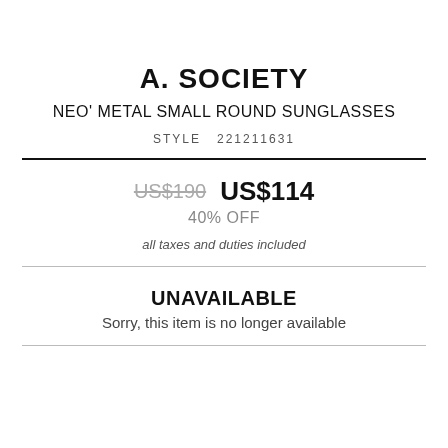A. SOCIETY
NEO' METAL SMALL ROUND SUNGLASSES
STYLE  221211631
US$190  US$114  40% OFF
all taxes and duties included
UNAVAILABLE
Sorry, this item is no longer available